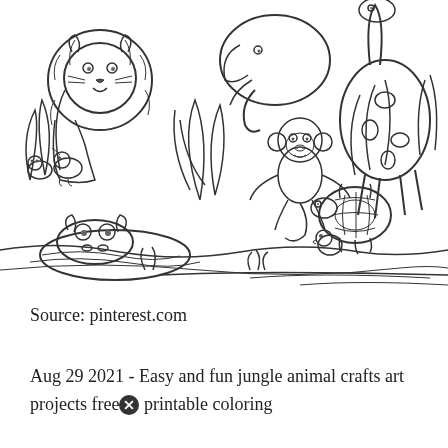[Figure (illustration): A black and white coloring page illustration showing jungle animals including a lion, monkey, giraffe, turtle, hippo partially submerged in water, and various plants/grass. Line art style suitable for coloring.]
Source: pinterest.com
Aug 29 2021 - Easy and fun jungle animal crafts art projects free printable coloring